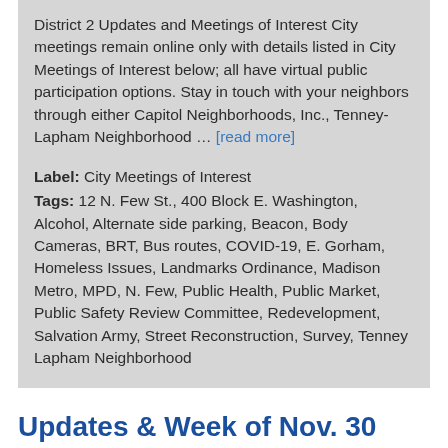District 2 Updates and Meetings of Interest City meetings remain online only with details listed in City Meetings of Interest below; all have virtual public participation options. Stay in touch with your neighbors through either Capitol Neighborhoods, Inc., Tenney-Lapham Neighborhood … [read more]
Label: City Meetings of Interest
Tags: 12 N. Few St., 400 Block E. Washington, Alcohol, Alternate side parking, Beacon, Body Cameras, BRT, Bus routes, COVID-19, E. Gorham, Homeless Issues, Landmarks Ordinance, Madison Metro, MPD, N. Few, Public Health, Public Market, Public Safety Review Committee, Redevelopment, Salvation Army, Street Reconstruction, Survey, Tenney Lapham Neighborhood
Updates & Week of Nov. 30 Meetings of Interest for District 2
November 28, 2020 2:21 PM